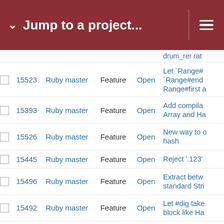Jump to a project...
|  | # | Project | Tracker | Status | Subject |
| --- | --- | --- | --- | --- | --- |
|  | 15523 | Ruby master | Feature | Open | Let `Range#... `Range#end Range#first a |
|  | 15393 | Ruby master | Feature | Open | Add compila... Array and Ha |
|  | 15526 | Ruby master | Feature | Open | New way to c hash |
|  | 15445 | Ruby master | Feature | Open | Reject '.123' |
|  | 15496 | Ruby master | Feature | Open | Extract betw... standard Stri |
|  | 15492 | Ruby master | Feature | Open | Let #dig take block like Ha |
|  | 15172 | Ruby master | Feature | Open | Performance to mimic __b directive func |
|  | 12282 | Ruby master | Feature | Open | Hash#dig! fo applications |
|  | 15463 | Ruby master | Feature | Open | oneshot cove counting cod coverage |